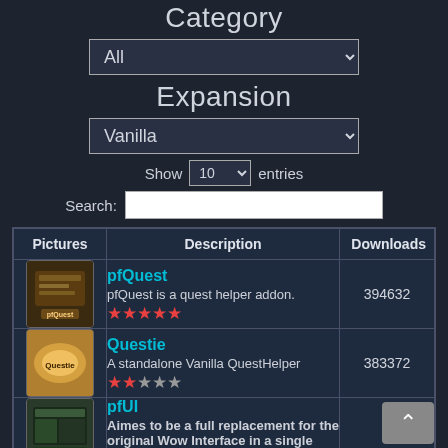Category
All (dropdown)
Expansion
Vanilla (dropdown)
Show 10 entries
Search:
| Pictures | Description | Downloads |
| --- | --- | --- |
| [pfQuest image] | pfQuest
pfQuest is a quest helper addon.
★★★★★ | 394632 |
| [Questie image] | Questie
A standalone Vanilla QuestHelper
★★☆☆☆ | 383372 |
| [pfUI image] | pfUI
Aimes to be a full replacement for the original Wow Interface in a single Addon. |  |